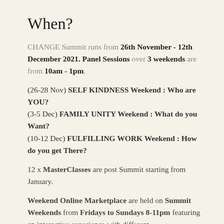When?
CHANGE Summit runs from 26th November - 12th December 2021. Panel Sessions over 3 weekends are from 10am - 1pm.
(26-28 Nov) SELF KINDNESS Weekend : Who are YOU?
(3-5 Dec) FAMILY UNITY Weekend : What do you Want?
(10-12 Dec) FULFILLING WORK Weekend : How do you get There?
12 x MasterClasses are post Summit starting from January.
Weekend Online Marketplace are held on Summit Weekends from Fridays to Sundays 8-11pm featuring an interactive experience with different